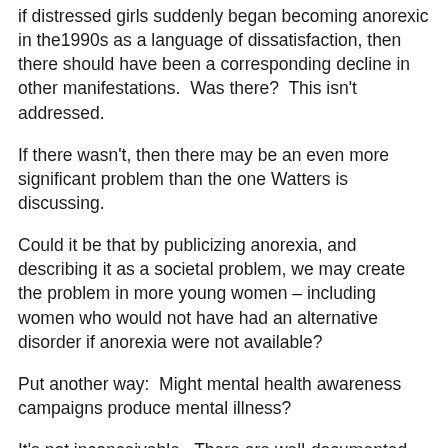if distressed girls suddenly began becoming anorexic in the1990s as a language of dissatisfaction, then there should have been a corresponding decline in other manifestations.  Was there?  This isn't addressed.
If there wasn't, then there may be an even more significant problem than the one Watters is discussing.
Could it be that by publicizing anorexia, and describing it as a societal problem, we may create the problem in more young women – including women who would not have had an alternative disorder if anorexia were not available?
Put another way:  Might mental health awareness campaigns produce mental illness?
It's not inconceivable.  There are well-documented cases of mass hysteria in school and community settings, in which large numbers of people suddenly come down with various physical symptoms.  No one believes that if the psychological contagion (the belief in a virus or toxic substance in a building, for example) was not present, the